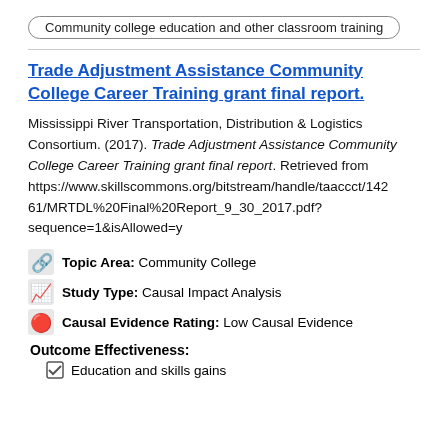Community college education and other classroom training
Trade Adjustment Assistance Community College Career Training grant final report.
Mississippi River Transportation, Distribution & Logistics Consortium. (2017). Trade Adjustment Assistance Community College Career Training grant final report. Retrieved from https://www.skillscommons.org/bitstream/handle/taaccct/14261/MRTDL%20Final%20Report_9_30_2017.pdf?sequence=1&isAllowed=y
Topic Area: Community College
Study Type: Causal Impact Analysis
Causal Evidence Rating: Low Causal Evidence
Outcome Effectiveness:
Education and skills gains